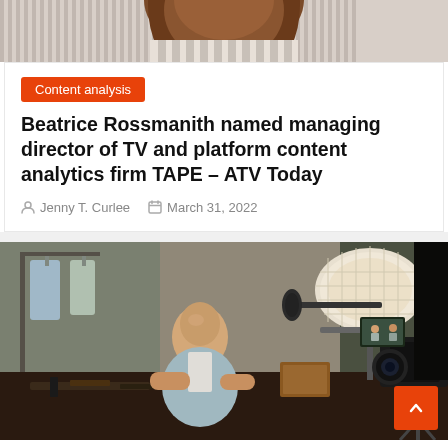[Figure (photo): Top portion of a person with long brown hair, partially cropped, with striped background]
Content analysis
Beatrice Rossmanith named managing director of TV and platform content analytics firm TAPE – ATV Today
Jenny T. Curlee   March 31, 2022
[Figure (photo): A person sitting at a desk being filmed by a professional video camera with a large softbox light, working with tools on a dark surface, indoor setting with wardrobe and shelving visible in background]